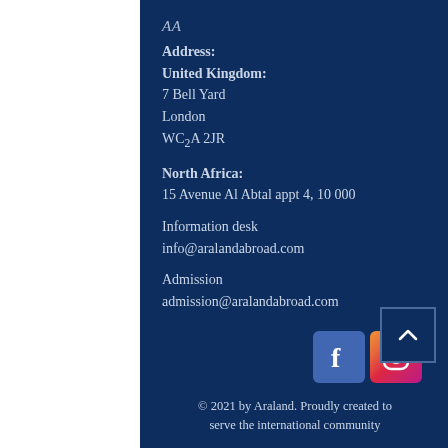AA
Address:
United Kingdom:
7 Bell Yard
London
WC2A 2JR
North Africa:
15 Avenue Al Abtal appt 4, 10 000
Information desk
info@aralandabroad.com
Admission
admission@aralandabroad.com
[Figure (logo): Facebook and Instagram social media icons, with an upward arrow button]
© 2021 by Araland. Proudly created to serve the international community